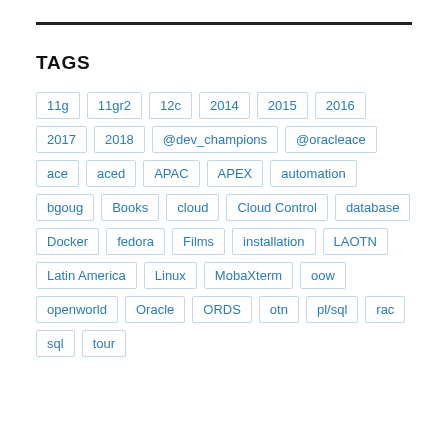TAGS
11g
11gr2
12c
2014
2015
2016
2017
2018
@dev_champions
@oracleace
ace
aced
APAC
APEX
automation
bgoug
Books
cloud
Cloud Control
database
Docker
fedora
Films
installation
LAOTN
Latin America
Linux
MobaXterm
oow
openworld
Oracle
ORDS
otn
pl/sql
rac
sql
tour